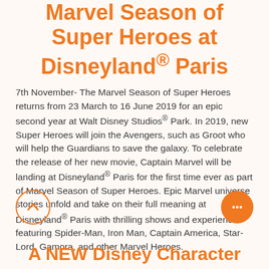Marvel Season of Super Heroes at Disneyland® Paris
7th November- The Marvel Season of Super Heroes returns from 23 March to 16 June 2019 for an epic second year at Walt Disney Studios® Park. In 2019, new Super Heroes will join the Avengers, such as Groot who will help the Guardians to save the galaxy. To celebrate the release of her new movie, Captain Marvel will be landing at Disneyland® Paris for the first time ever as part of Marvel Season of Super Heroes. Epic Marvel universe stories unfold and take on their full meaning at Disneyland® Paris with thrilling shows and experiences featuring Spider-Man, Iron Man, Captain America, Star-Lord, Gamora, and other Marvel Heroes.
[Figure (other): Scroll-up circle button with upward chevron arrow in orange outline style, and a filled orange circle chat button with speech bubble dots]
A NEW Disney Character